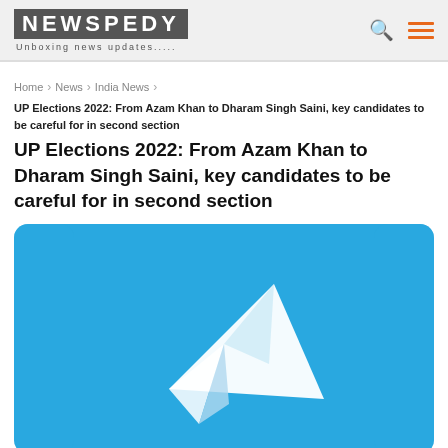NEWSPEDY - Unboxing news updates.....
Home > News > India News > UP Elections 2022: From Azam Khan to Dharam Singh Saini, key candidates to be careful for in second section
UP Elections 2022: From Azam Khan to Dharam Singh Saini, key candidates to be careful for in second section
[Figure (logo): Telegram logo — white paper plane on a blue rounded rectangle background]